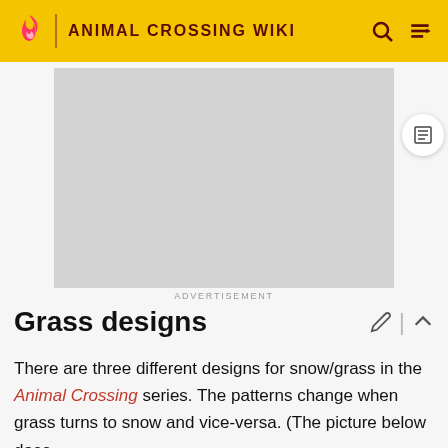ANIMAL CROSSING WIKI
[Figure (other): Advertisement placeholder — grey rectangle]
ADVERTISEMENT
Grass designs
There are three different designs for snow/grass in the Animal Crossing series. The patterns change when grass turns to snow and vice-versa. (The picture below does